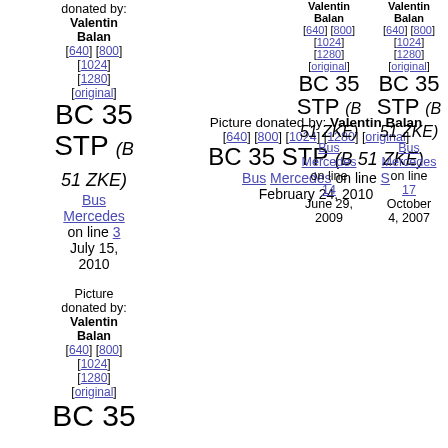donated by: Valentin Balan [640] [800] [1024] [1280] [original]
BC 35 STP (B 51 ZKE)
Bus Mercedes on line 3 July 15, 2010
Picture donated by: Valentin Balan [640] [800] [1024] [1280] [original]
BC 35
Picture donated by: Valentin Balan [640] [800] [1024] [1280] [original] BC 35 STP (B 51 ZKE) Bus Mercedes on line S February 24, 2010
Valentin Balan [640] [800] [1024] [1280] [original] BC 35 BC 35 STP (B 51 ZKE) Bus Mercedes on line 14 June 29, 2009
Valentin Balan [640] [800] [1024] [1280] [original] BC 35 BC 35 STP (B 51 ZKE) Bus Mercedes on line 17 October 4, 2007